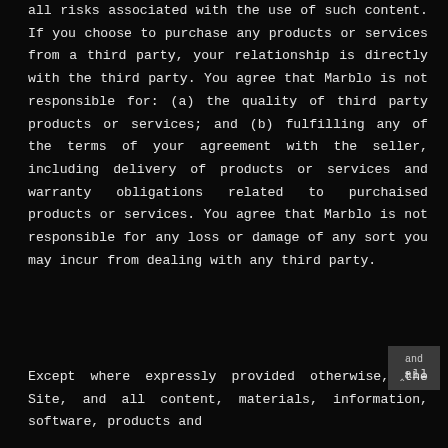all risks associated with the use of such content. If you choose to purchase any products or services from a third party, your relationship is directly with the third party. You agree that Marblo is not responsible for: (a) the quality of third party products or services; and (b) fulfilling any of the terms of your agreement with the seller, including delivery of products or services and warranty obligations related to purchaised products or services. You agree that Marblo is not responsible for any loss or damage of any sort you may incur from dealing with any third party.
Except where expressly provided otherwise, the Site, and all content, materials, information, software, products and